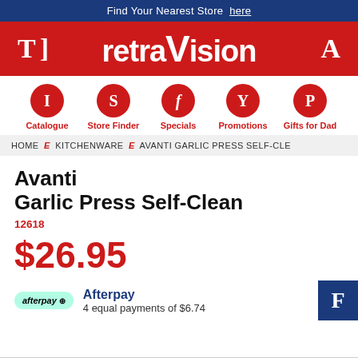Find Your Nearest Store here
[Figure (logo): retraVision logo on red background with decorative letters T, ], A]
Catalogue
Store Finder
Specials
Promotions
Gifts for Dad
HOME E KITCHENWARE E AVANTI GARLIC PRESS SELF-CLE
Avanti Garlic Press Self-Clean
12618
$26.95
Afterpay 4 equal payments of $6.74